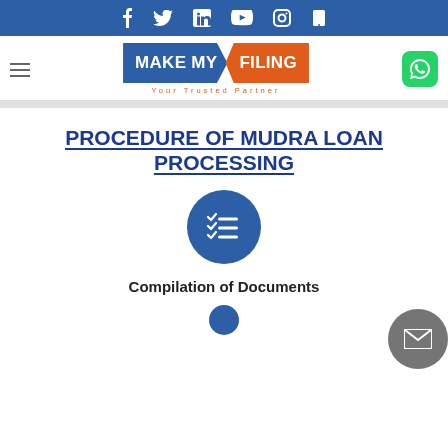Social media icons and phone icon top bar
[Figure (logo): Make My Filing logo with blue and orange banner design and tagline 'Your Trusted Partner']
PROCEDURE OF MUDRA LOAN PROCESSING
[Figure (illustration): Dark blue circle with checklist/task list icon in white]
Compilation of Documents
[Figure (illustration): Partial dark blue circle icon at bottom of page]